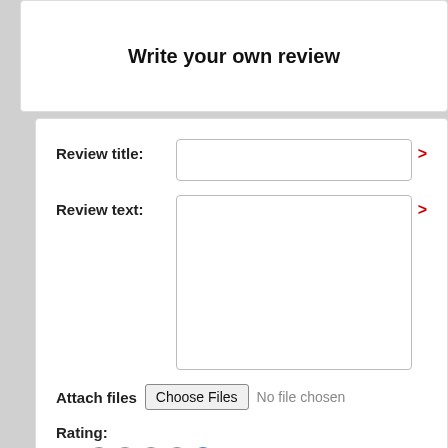Write your own review
Review title:
Review text:
Attach files  Choose Files  No file chosen
Rating: Bad  ○  ○  ○  ○  ●  Excellent